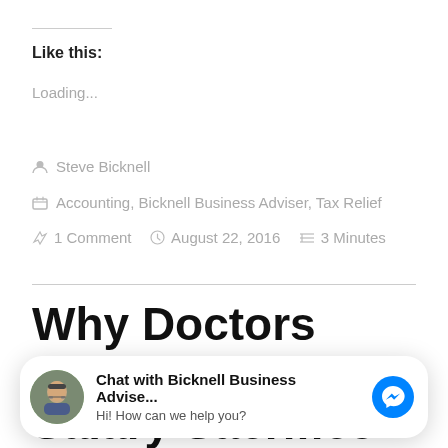Like this:
Loading...
Steve Bicknell
Accounting, Bicknell Business Adviser, Tax Relief
1 Comment   August 22, 2016   3 Minutes
Why Doctors should use Salary Sacrifice for CPE
[Figure (other): Chat widget: Chat with Bicknell Business Advise... Hi! How can we help you? with avatar photo of a man with glasses and Facebook Messenger icon]